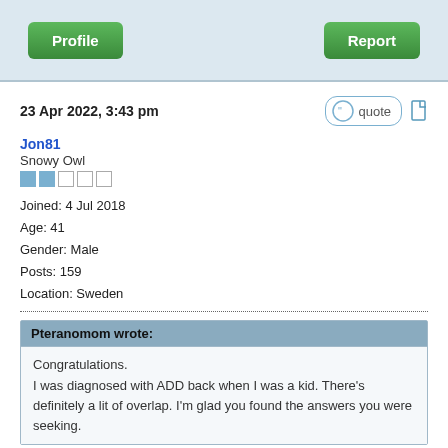[Figure (screenshot): Green Profile button on the left and green Report button on the right in a light blue header bar]
23 Apr 2022, 3:43 pm
Jon81
Snowy Owl
Joined: 4 Jul 2018
Age: 41
Gender: Male
Posts: 159
Location: Sweden
Pteranomom wrote:
Congratulations.
I was diagnosed with ADD back when I was a kid. There's definitely a lit of overlap. I'm glad you found the answers you were seeking.
Thank you 😀
Yes, it actually feels good to know I wasn't just imagining all these things. I surely could have used some help in my mid teens.